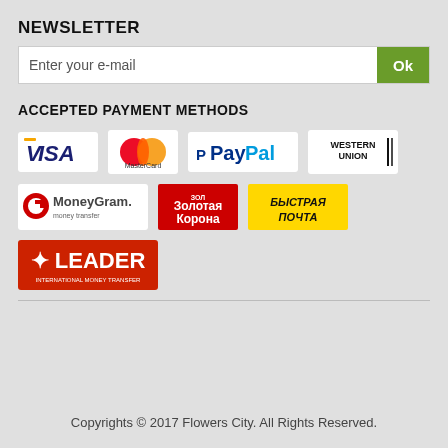NEWSLETTER
Enter your e-mail
ACCEPTED PAYMENT METHODS
[Figure (logo): Payment method logos: Visa, MasterCard, PayPal, Western Union, MoneyGram, Золотая Корона, Быстрая Почта, Leader International Money Transfer]
Copyrights © 2017 Flowers City. All Rights Reserved.